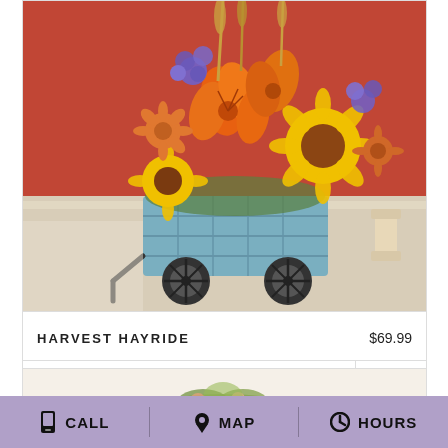[Figure (photo): Autumn harvest flower arrangement with orange lilies, sunflowers, purple flowers in a rustic blue wooden wagon planter on a light wood surface with red background]
| HARVEST HAYRIDE | $69.99 |
| BUY NOW | ℹ |
[Figure (photo): Partial view of a second floral arrangement, green and pink flowers, partially visible at bottom of page]
CALL   MAP   HOURS